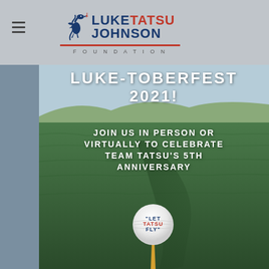[Figure (logo): Luke Tatsu Johnson Foundation logo with blue dragon, red and blue text, red underline, and 'FOUNDATION' in spaced caps]
LUKE-TOBERFEST 2021!
JOIN US IN PERSON OR VIRTUALLY TO CELEBRATE TEAM TATSU'S 5TH ANNIVERSARY
[Figure (photo): Golf ball on a tee on green grass with text 'LET TATSU FLY' on the ball, golf course in background]